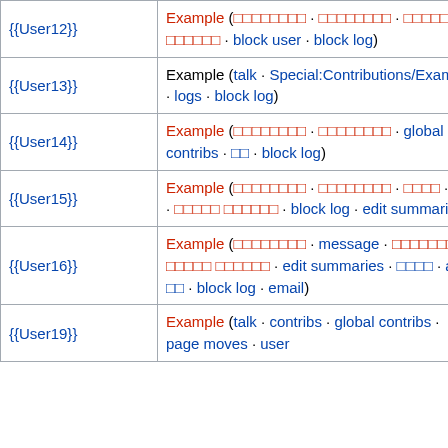| Template | Links |
| --- | --- |
| {{User12}} | Example (□□□□□□□□ · □□□□□□□□ · □□□□□ □□□□□□ · block user · block log) |
| {{User13}} | Example (talk · Special:Contributions/Example · logs · block log) |
| {{User14}} | Example (□□□□□□□□ · □□□□□□□□ · global contribs · □□ · block log) |
| {{User15}} | Example (□□□□□□□□ · □□□□□□□□ · □□□□ · □□ · □□□□□ □□□□□□ · block log · edit summaries) |
| {{User16}} | Example (□□□□□□□□ · message · □□□□□□□□ · □□□□□ □□□□□□ · edit summaries · □□□□ · api · □□ · block log · email) |
| {{User19}} | Example (talk · contribs · global contribs · page moves · user |